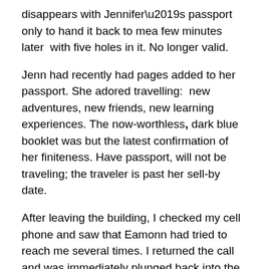disappears with Jennifer’s passport only to hand it back to mea few minutes later  with five holes in it. No longer valid.
Jenn had recently had pages added to her passport. She adored travelling:  new adventures, new friends, new learning experiences. The now-worthless, dark blue booklet was but the latest confirmation of her finiteness. Have passport, will not be traveling; the traveler is past her sell-by date.
After leaving the building, I checked my cell phone and saw that Eamonn had tried to reach me several times. I returned the call and was immediately plunged back into the utter misery of the situation earlier that morning. For twenty long minutes I did my best – to no avail.  I promised him that I’d be in the schoolyard at three-thirty and begged him to hang up.